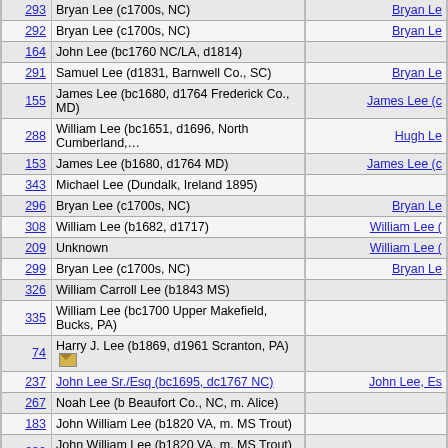| # | Name | Parent |
| --- | --- | --- |
| 293 | Bryan Lee (c1700s, NC) | Bryan Le |
| 292 | Bryan Lee (c1700s, NC) | Bryan Le |
| 164 | John Lee (bc1760 NC/LA, d1814) |  |
| 291 | Samuel Lee (d1831, Barnwell Co., SC) | Bryan Le |
| 155 | James Lee (bc1680, d1764 Frederick Co., MD) | James Lee (c |
| 288 | William Lee (bc1651, d1696, North Cumberland,... | Hugh Le |
| 153 | James Lee (b1680, d1764 MD) | James Lee (c |
| 343 | Michael Lee (Dundalk, Ireland 1895) |  |
| 296 | Bryan Lee (c1700s, NC) | Bryan Le |
| 308 | William Lee (b1682, d1717) | William Lee ( |
| 209 | Unknown | William Lee ( |
| 299 | Bryan Lee (c1700s, NC) | Bryan Le |
| 326 | William Carroll Lee (b1843 MS) |  |
| 335 | William Lee (bc1700 Upper Makefield, Bucks, PA) |  |
| 74 | Harry J. Lee (b1869, d1961 Scranton, PA) [email] |  |
| 237 | John Lee Sr./Esq (bc1695, dc1767 NC) | John Lee, Es |
| 267 | Noah Lee (b Beaufort Co., NC, m. Alice) |  |
| 183 | John William Lee (b1820 VA, m. MS Trout) |  |
| 232 | John William Lee (b1820 VA, m. MS Trout) [email] |  |
| 101 | Green Berry Lee (bc1800 GA, d1869 Covington... [email] | Hugh Le |
| 111 | Capt. Thomas Lee (bc1730 NC?, d1816 Hawkins... [email] | John Lee, Es |
| 172 | David Lee (b1765 Cumberland Co., MD, d1848 Switzerland... | Josiah Lee (o |
| 26 | James Lee (bc1680, d1764 Frederick Co., MD) | James Lee (c |